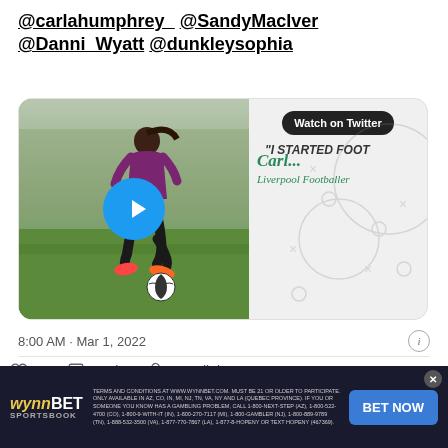@carlahumphrey_ @SandyMacIver @Danni_Wyatt @dunkleysophia
[Figure (screenshot): Embedded Twitter video thumbnail showing a woman kicking a football on a grass field, with text 'Carl... Liverpool Footballer' and 'I STARTED FOOT' on a light background with a tactical diagram, overlaid with a play button and Watch on Twitter badge]
8:00 AM · Mar 1, 2022
20  Reply  Copy link
Read 2 replies
[Figure (infographic): WynnBET Sportsbook advertisement banner with logo, terms and conditions text, and BET NOW button]